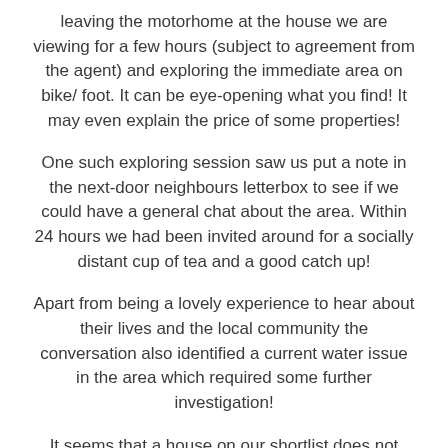leaving the motorhome at the house we are viewing for a few hours (subject to agreement from the agent) and exploring the immediate area on bike/ foot. It can be eye-opening what you find! It may even explain the price of some properties!
One such exploring session saw us put a note in the next-door neighbours letterbox to see if we could have a general chat about the area. Within 24 hours we had been invited around for a socially distant cup of tea and a good catch up!
Apart from being a lovely experience to hear about their lives and the local community the conversation also identified a current water issue in the area which required some further investigation!
It seems that a house on our shortlist does not currently